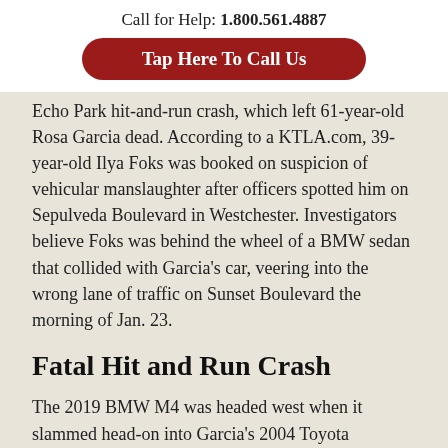Call for Help: 1.800.561.4887
[Figure (other): Red rounded button with white text: Tap Here To Call Us]
Echo Park hit-and-run crash, which left 61-year-old Rosa Garcia dead. According to a KTLA.com, 39-year-old Ilya Foks was booked on suspicion of vehicular manslaughter after officers spotted him on Sepulveda Boulevard in Westchester. Investigators believe Foks was behind the wheel of a BMW sedan that collided with Garcia’s car, veering into the wrong lane of traffic on Sunset Boulevard the morning of Jan. 23.
Fatal Hit and Run Crash
The 2019 BMW M4 was headed west when it slammed head-on into Garcia’s 2004 Toyota